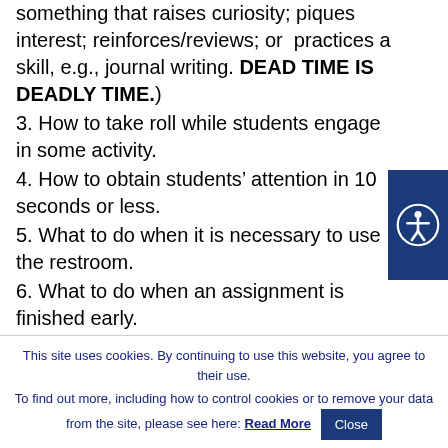something that raises curiosity; piques interest; reinforces/reviews; or practices a skill, e.g., journal writing. DEAD TIME IS DEADLY TIME.)
3. How to take roll while students engage in some activity.
4. How to obtain students’ attention in 10 seconds or less.
5. What to do when it is necessary to use the restroom.
6. What to do when an assignment is finished early.
7. How to find directions for each class activity center.
This site uses cookies. By continuing to use this website, you agree to their use. To find out more, including how to control cookies or to remove your data from the site, please see here: Read More